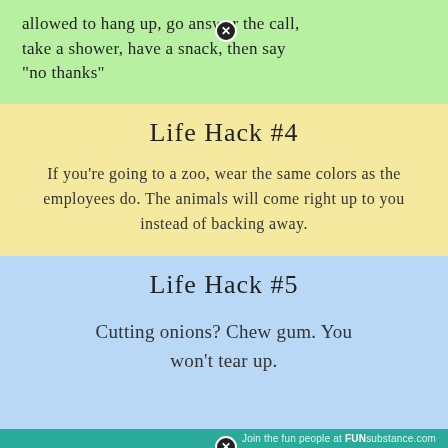allowed to hang up, go answer the call, take a shower, have a snack, then say "no thanks"
Life Hack #4
If you're going to a zoo, wear the same colors as the employees do. The animals will come right up to you instead of backing away.
Life Hack #5
Cutting onions? Chew gum. You won't tear up.
Join the fun people at FUNsubstance.com